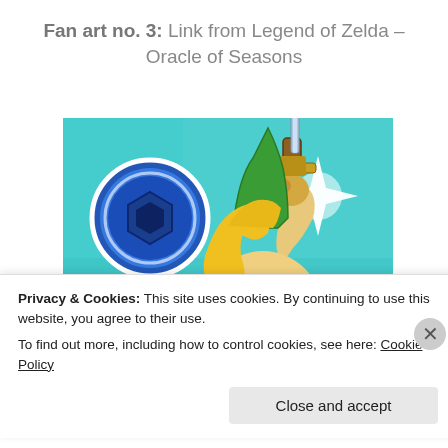Fan art no. 3: Link from Legend of Zelda – Oracle of Seasons
[Figure (illustration): Fan art illustration of Link from The Legend of Zelda: Oracle of Seasons. Shows Link holding a sword raised upward, wearing a green tunic and hat with pointed ears. Two circular emblems visible on the left: a blue circle with a dark hexagon shape, and a red circle with a white star/burst shape. Teal/turquoise background with a glowing white four-pointed star shape. Anime/cartoon art style.]
Privacy & Cookies: This site uses cookies. By continuing to use this website, you agree to their use. To find out more, including how to control cookies, see here: Cookie Policy
Close and accept